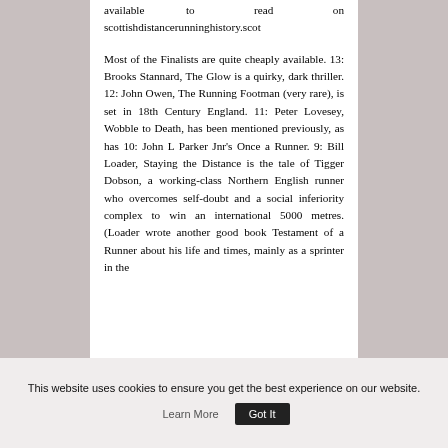available to read on scottishdistancerunninghistory.scot
Most of the Finalists are quite cheaply available. 13: Brooks Stannard, The Glow is a quirky, dark thriller. 12: John Owen, The Running Footman (very rare), is set in 18th Century England. 11: Peter Lovesey, Wobble to Death, has been mentioned previously, as has 10: John L Parker Jnr's Once a Runner. 9: Bill Loader, Staying the Distance is the tale of Tigger Dobson, a working-class Northern English runner who overcomes self-doubt and a social inferiority complex to win an international 5000 metres. (Loader wrote another good book Testament of a Runner about his life and times, mainly as a sprinter in the
This website uses cookies to ensure you get the best experience on our website. Learn More Got It